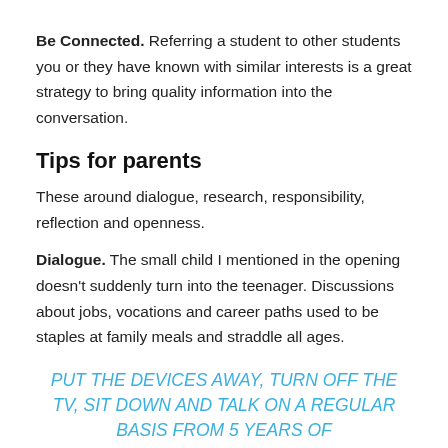Be Connected. Referring a student to other students you or they have known with similar interests is a great strategy to bring quality information into the conversation.
Tips for parents
These around dialogue, research, responsibility, reflection and openness.
Dialogue. The small child I mentioned in the opening doesn't suddenly turn into the teenager. Discussions about jobs, vocations and career paths used to be staples at family meals and straddle all ages.
PUT THE DEVICES AWAY, TURN OFF THE TV, SIT DOWN AND TALK ON A REGULAR BASIS FROM 5 YEARS OF